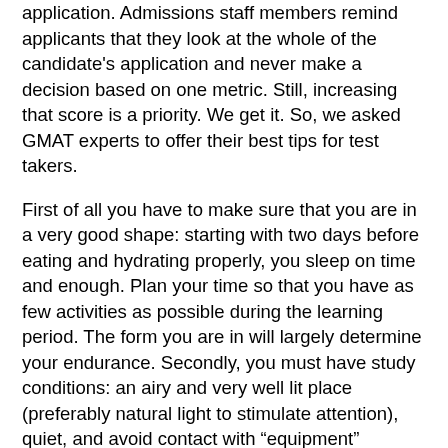application. Admissions staff members remind applicants that they look at the whole of the candidate's application and never make a decision based on one metric. Still, increasing that score is a priority. We get it. So, we asked GMAT experts to offer their best tips for test takers.
First of all you have to make sure that you are in a very good shape: starting with two days before eating and hydrating properly, you sleep on time and enough. Plan your time so that you have as few activities as possible during the learning period. The form you are in will largely determine your endurance. Secondly, you must have study conditions: an airy and very well lit place (preferably natural light to stimulate attention), quiet, and avoid contact with "equipment" (phones, computers ..) or people (parents or friends friends) and talk) that will interrupt you. Attention is very important, and interruptions are a major impediment to concentration.
Read Carefully...Or Else The GMAT is constructed with incorrect answer choices that the test writers think you might like. If it's a mistake a person might easily make on a problem,